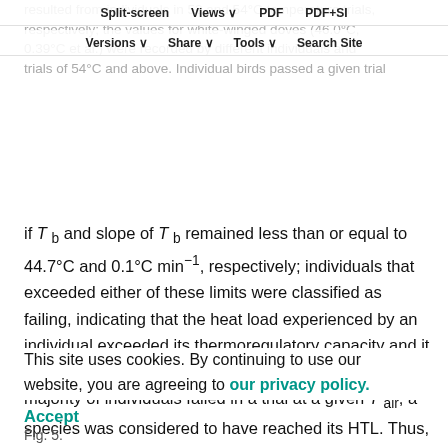resulted from individuals in 52 and 54°C temperature trials, respectively; the values for white-winged doves (46.0°C, 0.39°C et al.) were recorded by different individuals and trials of 54°C and above. Individual birds passed a given trial
Split-screen   Views   PDF   PDF+SI   Versions   Share   Tools   Search Site
if T_b and slope of T_b remained less than or equal to 44.7°C and 0.1°C min⁻¹, respectively; individuals that exceeded either of these limits were classified as failing, indicating that the heat load experienced by an individual exceeded its thermoregulatory capacity and it had reached its heat tolerance limit (HTL). Once the majority of individuals failed in a trial at a given T_air, a species was considered to have reached its HTL. Thus, the HTL of Gambel's quail was 52°C (1/9 pass), of mourning doves was 50°C (3/8 pass) and of white-winged doves was 50°C (1/6 pass), (see Table 1).
This site uses cookies. By continuing to use our website, you are agreeing to our privacy policy.
Accept
Fig. 5.